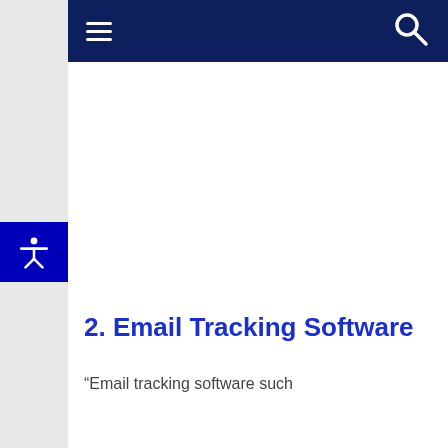Navigation bar with hamburger menu and search icon
2. Email Tracking Software
“Email tracking software such